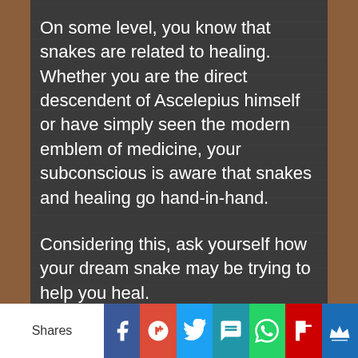On some level, you know that snakes are related to healing. Whether you are the direct descendent of Ascelepius himself or have simply seen the modern emblem of medicine, your subconscious is aware that snakes and healing go hand-in-hand.
Considering this, ask yourself how your dream snake may be trying to help you heal.
Whether it bites you, swallows you, antagonizes you or hugs you, this snake is
[Figure (infographic): Social sharing bar with buttons for Facebook, Google+, Twitter, SMS, WhatsApp, Flipboard, and a crown/bookmark icon, with a 'Shares' label on the left.]